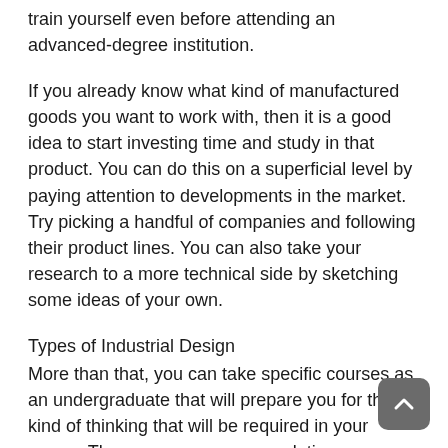train yourself even before attending an advanced-degree institution.
If you already know what kind of manufactured goods you want to work with, then it is a good idea to start investing time and study in that product. You can do this on a superficial level by paying attention to developments in the market. Try picking a handful of companies and following their product lines. You can also take your research to a more technical side by sketching some ideas of your own.
Types of Industrial Design
More than that, you can take specific courses as an undergraduate that will prepare you for the kind of thinking that will be required in your career. These course recommendations are provided below.
Product design is the largest subdivision of industrial design and is therefore not exactly a specialization. Skills needed for this area will be covered broadly by any advanced program in industrial design you could potentially attend. As an